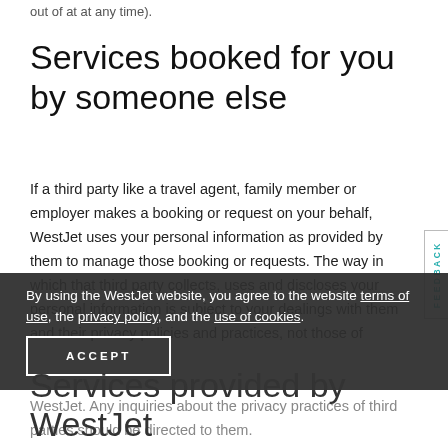out of at any time).
Services booked for you by someone else
If a third party like a travel agent, family member or employer makes a booking or request on your behalf, WestJet uses your personal information as provided by them to manage those booking or requests. The way in which that third party collects, uses and discloses your personal information is subject to your dealings with them and their privacy policies and practices, not those of WestJet. Any inquiries about the privacy practices of third parties should be directed to them.
By using the WestJet website, you agree to the website terms of use, the privacy policy, and the use of cookies.
ACCEPT
Services provided by WestJet